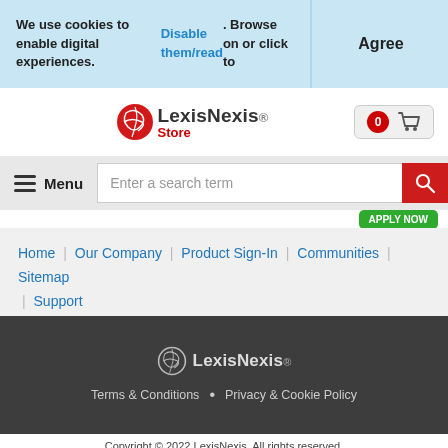We use cookies to enable digital experiences. Disable them/read. Browse on or click to
Agree
[Figure (logo): LexisNexis Store logo with red globe icon]
[Figure (other): Shopping cart icon with 0 badge]
Menu
Enter a search term
Home | Our Company | Product Sign-In | Communities | Sitemap | Support
[Figure (logo): LexisNexis footer logo white version]
Terms & Conditions • Privacy & Cookie Policy
Copyright © 2022 LexisNexis. All rights reserved.
[Figure (logo): RELX logo with orange swirl icon]